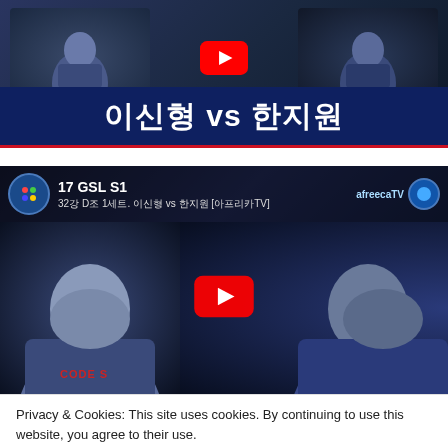[Figure (screenshot): YouTube video thumbnail showing two esports players with Korean text title '이신형 vs 한지원' on dark blue background with red accent bar]
[Figure (screenshot): YouTube video thumbnail for 2017 GSL S1 match on afreecaTV channel showing two StarCraft players, with YouTube play button overlay]
Privacy & Cookies: This site uses cookies. By continuing to use this website, you agree to their use.
To find out more, including how to control cookies, see here: Cookie Policy
Close and accept